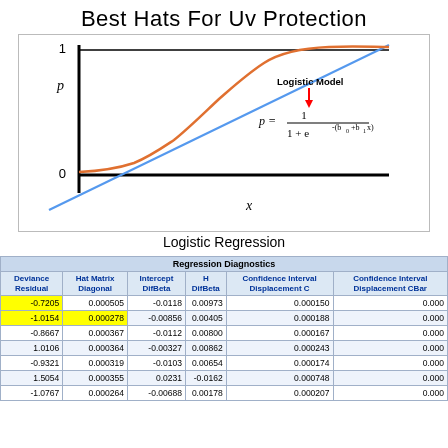Best Hats For Uv Protection
[Figure (continuous-plot): Logistic regression diagram showing an S-shaped orange curve (logistic model) and a blue linear line on axes with p (0 to 1) on y-axis and x on x-axis. Includes label 'Logistic Model' with red arrow pointing to formula p = 1 / (1 + e^(-(b0 + b1*x)))]
Logistic Regression
| Deviance Residual | Hat Matrix Diagonal | Intercept DifBeta | H DifBeta | Confidence Interval Displacement C | Confidence Interval Displacement CBar |
| --- | --- | --- | --- | --- | --- |
| -0.7205 | 0.000505 | -0.0118 | 0.00973 | 0.000150 | 0.000 |
| -1.0154 | 0.000278 | -0.00856 | 0.00405 | 0.000188 | 0.000 |
| -0.8667 | 0.000367 | -0.0112 | 0.00800 | 0.000167 | 0.000 |
| 1.0106 | 0.000364 | -0.00327 | 0.00862 | 0.000243 | 0.000 |
| -0.9321 | 0.000319 | -0.0103 | 0.00654 | 0.000174 | 0.000 |
| 1.5054 | 0.000355 | 0.0231 | -0.0162 | 0.000748 | 0.000 |
| -1.0767 | 0.000264 | -0.00688 | 0.00178 | 0.000207 | 0.000 |